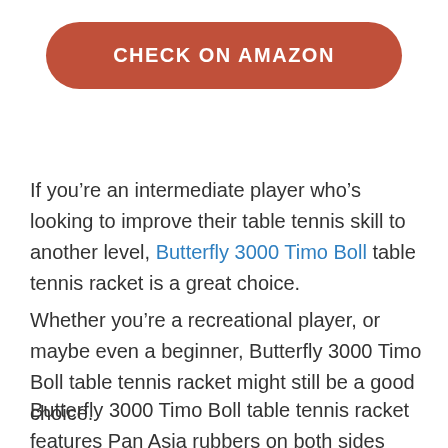[Figure (other): Red rounded button with white uppercase text reading CHECK ON AMAZON]
If you're an intermediate player who's looking to improve their table tennis skill to another level, Butterfly 3000 Timo Boll table tennis racket is a great choice.
Whether you're a recreational player, or maybe even a beginner, Butterfly 3000 Timo Boll table tennis racket might still be a good choice.
Butterfly 3000 Timo Boll table tennis racket features Pan Asia rubbers on both sides which provide a great